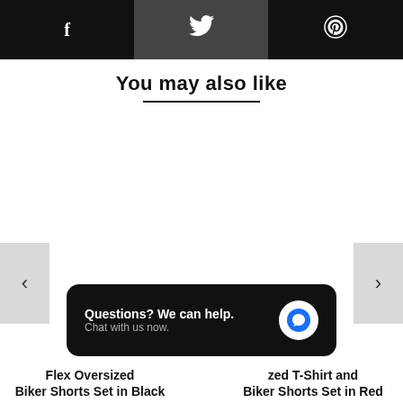f  [twitter]  [pinterest]
You may also like
[Figure (other): Left carousel navigation arrow button]
[Figure (other): Right carousel navigation arrow button]
Questions? We can help. Chat with us now.
Flex Oversized Biker Shorts Set in Black
zed T-Shirt and Biker Shorts Set in Red